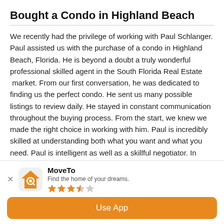Bought a Condo in Highland Beach
We recently had the privilege of working with Paul Schlanger. Paul assisted us with the purchase of a condo in Highland Beach, Florida. He is beyond a doubt a truly wonderful professional skilled agent in the South Florida Real Estate  market. From our first conversation, he was dedicated to finding us the perfect condo. He sent us many possible listings to review daily. He stayed in constant communication throughout the buying process. From the start, we knew we made the right choice in working with him. Paul is incredibly skilled at understanding both what you want and what you need. Paul is intelligent as well as a skillful negotiator. In addition, he is  truly committed to satisfaction, provides outstanding customer service throughout the buying process. Everything about the search through closing was made easy as it was so efficiently
[Figure (other): App install banner for MoveTo app showing house icon logo, app name 'MoveTo', tagline 'Find the home of your dreams.', 3.5 star rating, and an orange 'Use App' button]